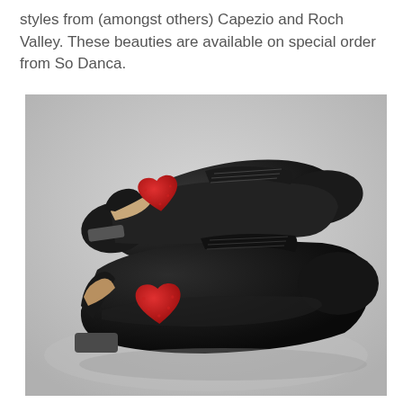styles from (amongst others) Capezio and Roch Valley. These beauties are available on special order from So Danca.
[Figure (photo): Two black leather tap shoes with red heart embroidery on the heel, photographed from behind against a light grey background. The shoes are stacked/overlapping, showing the back heels prominently.]